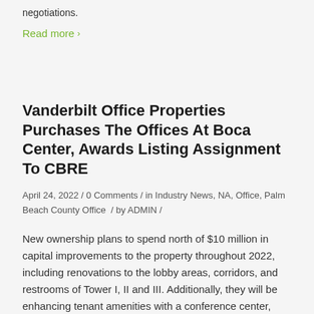negotiations.
Read more >
Vanderbilt Office Properties Purchases The Offices At Boca Center, Awards Listing Assignment To CBRE
April 24, 2022 / 0 Comments / in Industry News, NA, Office, Palm Beach County Office / by ADMIN /
New ownership plans to spend north of $10 million in capital improvements to the property throughout 2022, including renovations to the lobby areas, corridors, and restrooms of Tower I, II and III. Additionally, they will be enhancing tenant amenities with a conference center, lounge, and state-of-the-art